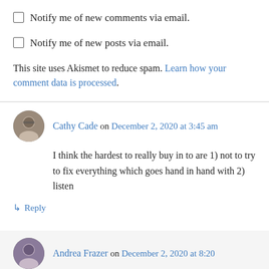Notify me of new comments via email.
Notify me of new posts via email.
This site uses Akismet to reduce spam. Learn how your comment data is processed.
Cathy Cade on December 2, 2020 at 3:45 am
I think the hardest to really buy in to are 1) not to try to fix everything which goes hand in hand with 2) listen
↳ Reply
Andrea Frazer on December 2, 2020 at 8:20